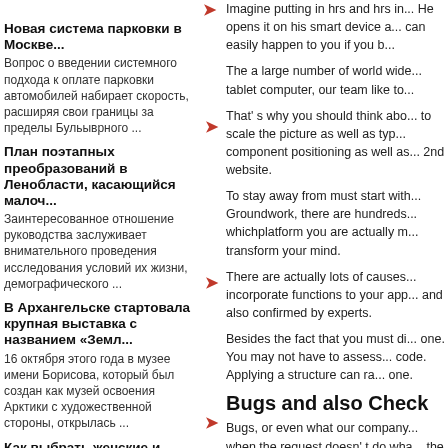Новая система парковки в Москве...
Вопрос о введении системного подхода к оплате парковки автомобилей набирает скорость, расширяя свои границы за пределы Бульыврного ...
План поэтапных преобразований в Ленобласти, касающийся малоч...
Заинтересованное отношение руководства заслуживает внимательного проведения исследования условий их жизни, демографического ...
В Архангельске стартовала крупная выставка с названием «Земл...
16 октября этого года в музее имени Борисова, который был создан как музей освоения Арктики с художественной стороны, открылась ...
Как выбрать женские и мужские сумки на летний период?...
Неповторимый образ девушки завершенным делают аксессуары. В том числе это касается и сумочек. Данные изделия играют не только ...
Энергоснабжение
[Figure (photo): Interior building photo with corridor/hallway]
По мнению Андрея Петрова, депутата Смоленской
Imagine putting in hrs and hrs in ... He opens it on his smart device a ... can easily happen to you if you b...
The a large number of world wide ... tablet computer, our team like to ...
That' s why you should think abo... to scale the picture as well as typ... component positioning as well as... 2nd website.
To stay away from must start with... Groundwork, there are hundreds... whichplatform you are actually m... transform your mind.
There are actually lots of causes... incorporate functions to your app... and also confirmed by experts.
Besides the fact that you must di... one. You may not have to assess... code. Applying a structure can ra... one.
Bugs and also Check
Bugs, or even what our company... when the request doesn' t do wha... the code you wrote. There incu...